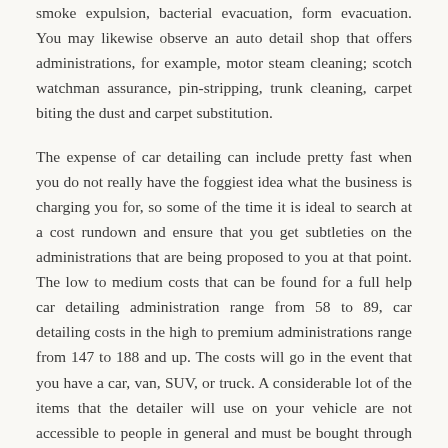smoke expulsion, bacterial evacuation, form evacuation. You may likewise observe an auto detail shop that offers administrations, for example, motor steam cleaning; scotch watchman assurance, pin-stripping, trunk cleaning, carpet biting the dust and carpet substitution.
The expense of car detailing can include pretty fast when you do not really have the foggiest idea what the business is charging you for, so some of the time it is ideal to search at a cost rundown and ensure that you get subtleties on the administrations that are being proposed to you at that point. The low to medium costs that can be found for a full help car detailing administration range from 58 to 89, car detailing costs in the high to premium administrations range from 147 to 188 and up. The costs will go in the event that you have a car, van, SUV, or truck. A considerable lot of the items that the detailer will use on your vehicle are not accessible to people in general and must be bought through unique item dissemination organizations. A significant number of the synthetic substances are